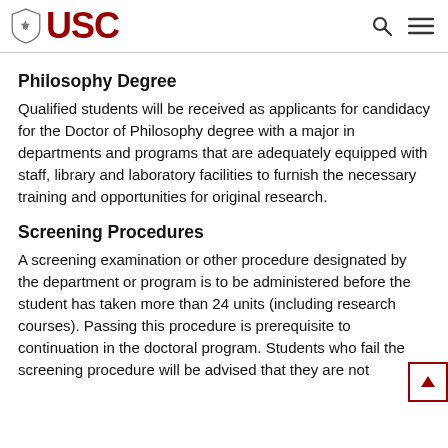USC
Philosophy Degree
Qualified students will be received as applicants for candidacy for the Doctor of Philosophy degree with a major in departments and programs that are adequately equipped with staff, library and laboratory facilities to furnish the necessary training and opportunities for original research.
Screening Procedures
A screening examination or other procedure designated by the department or program is to be administered before the student has taken more than 24 units (including research courses). Passing this procedure is prerequisite to continuation in the doctoral program. Students who fail the screening procedure will be advised that they are not